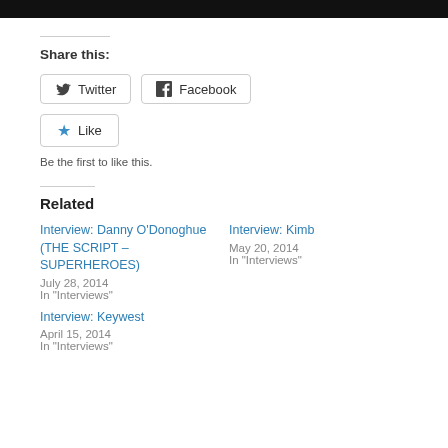[Figure (photo): Black bar at top of page, partial image cropped]
Share this:
[Figure (other): Twitter share button]
[Figure (other): Facebook share button]
[Figure (other): Like button with star icon]
Be the first to like this.
Related
Interview: Danny O'Donoghue (THE SCRIPT – SUPERHEROES)
July 28, 2014
In "Interviews"
Interview: Kimb
May 20, 2014
In "Interviews"
Interview: Keywest
April 15, 2014
In "Interviews"